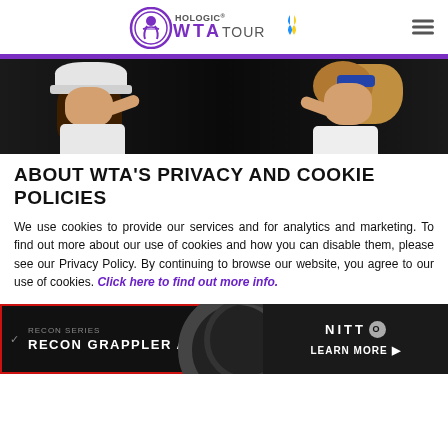Hologic WTA Tour
[Figure (photo): Two female tennis players high-fiving or interacting at the net, one wearing a white cap, the other with a ponytail and sunglasses headband, dark background]
ABOUT WTA'S PRIVACY AND COOKIE POLICIES
We use cookies to provide our services and for analytics and marketing. To find out more about our use of cookies and how you can disable them, please see our Privacy Policy. By continuing to browse our website, you agree to our use of cookies. Click here to find out more info.
[Figure (photo): Nitto tire advertisement banner showing Recon Grappler A/T tire with red bordered left section and Nitto logo with Learn More button on right]